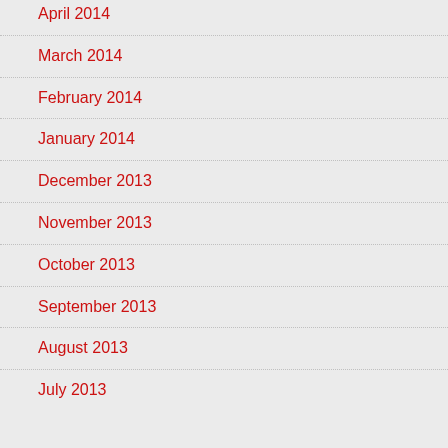April 2014
March 2014
February 2014
January 2014
December 2013
November 2013
October 2013
September 2013
August 2013
July 2013